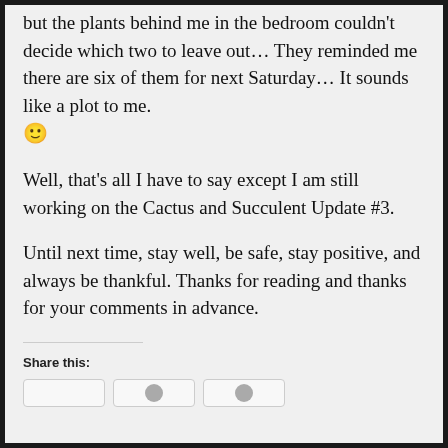but the plants behind me in the bedroom couldn't decide which two to leave out… They reminded me there are six of them for next Saturday… It sounds like a plot to me. 🙂
Well, that's all I have to say except I am still working on the Cactus and Succulent Update #3.
Until next time, stay well, be safe, stay positive, and always be thankful. Thanks for reading and thanks for your comments in advance.
Share this: